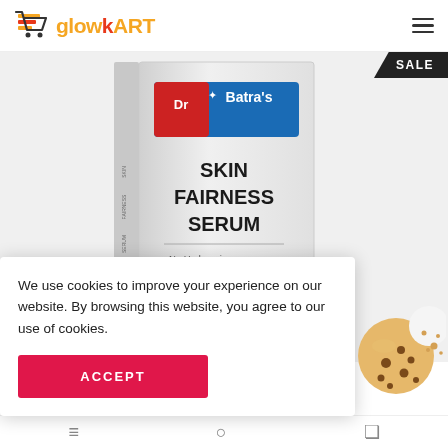[Figure (logo): GlowKart logo with shopping cart icon in orange/red, text 'glowkart' in orange and red]
[Figure (photo): Dr Batra's Skin Fairness Serum product box — white box with Dr Batra's logo (red and blue), text 'SKIN FAIRNESS SERUM', 'No Hydroquinone', 'No Silicones'. SALE badge in top-right corner.]
We use cookies to improve your experience on our website. By browsing this website, you agree to our use of cookies.
ACCEPT